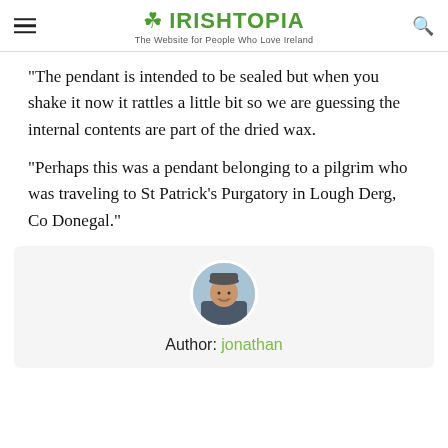IRISHTOPIA — The Website for People Who Love Ireland
“The pendant is intended to be sealed but when you shake it now it rattles a little bit so we are guessing the internal contents are part of the dried wax.
“Perhaps this was a pendant belonging to a pilgrim who was traveling to St Patrick’s Purgatory in Lough Derg, Co Donegal.”
Author: jonathan